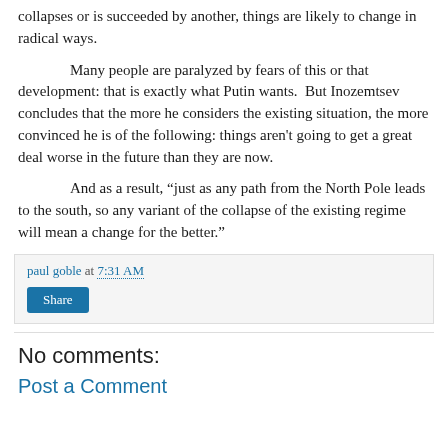collapses or is succeeded by another, things are likely to change in radical ways.
Many people are paralyzed by fears of this or that development: that is exactly what Putin wants.  But Inozemtsev concludes that the more he considers the existing situation, the more convinced he is of the following: things aren’t going to get a great deal worse in the future than they are now.
And as a result, “just as any path from the North Pole leads to the south, so any variant of the collapse of the existing regime will mean a change for the better.”
paul goble at 7:31 AM
Share
No comments:
Post a Comment